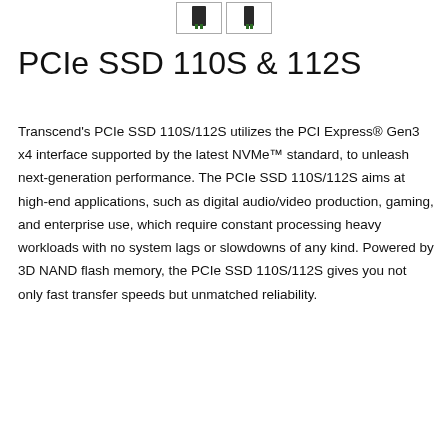[Figure (photo): Two thumbnail images of PCIe SSD modules shown in portrait orientation with green connectors]
PCIe SSD 110S & 112S
Transcend's PCIe SSD 110S/112S utilizes the PCI Express® Gen3 x4 interface supported by the latest NVMe™ standard, to unleash next-generation performance. The PCIe SSD 110S/112S aims at high-end applications, such as digital audio/video production, gaming, and enterprise use, which require constant processing heavy workloads with no system lags or slowdowns of any kind. Powered by 3D NAND flash memory, the PCIe SSD 110S/112S gives you not only fast transfer speeds but unmatched reliability.